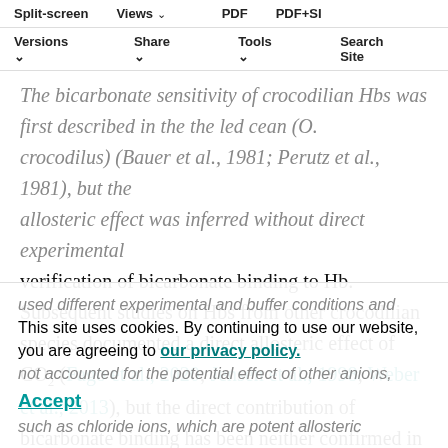Navigation bar: Split-screen | Views | PDF | PDF+SI | Versions | Share | Tools | Search Site
The bicarbonate sensitivity of crocodilian Hbs was first described in the crowded ocean (O. crocodilus) (Bauer et al., 1981; Perutz et al., 1981), but the allosteric effect was inferred without direct experimental verification of bicarbonate binding to Hb. Subsequent studies on Hbs from other crocodilian species documented a direct allosteric effect of CO₂ (Fago et al., 2020; Jensen et al., 1998; Weber et al., 2013), but the direct contribution of bicarbonate binding has been neither confirmed in these studies nor quantified. The reason is likely that it is difficult to experimentally distinguish the allosteric effects of CO₂ from those of bicarbonate and protons because at equilibrium all these three compounds are present in solution. Moreover, previous studies (Bauer et al., 1981) used different experimental and buffer conditions and not accounted for the potential effect of other anions, such as chloride ions, which are potent allosteric
This site uses cookies. By continuing to use our website, you are agreeing to our privacy policy. Accept